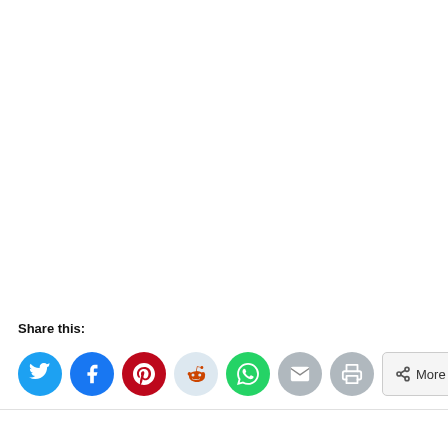Share this:
[Figure (other): Social share buttons: Twitter (blue circle), Facebook (blue circle), Pinterest (red circle), Reddit (light blue circle), WhatsApp (green circle), Email (grey circle), Print (grey circle), More (rectangular button with share icon)]